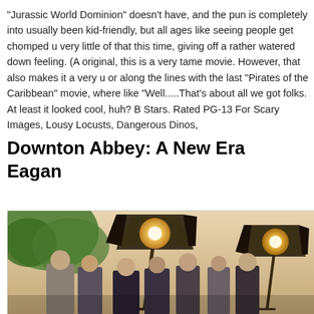"Jurassic World Dominion" doesn't have, and the pun is completely into usually been kid-friendly, but all ages like seeing people get chomped u very little of that this time, giving off a rather watered down feeling. (A original, this is a very tame movie. However, that also makes it a very u or along the lines with the last "Pirates of the Caribbean" movie, where like "Well.....That's about all we got folks. At least it looked cool, huh? B Stars. Rated PG-13 For Scary Images, Lousy Locusts, Dangerous Dinos,
Downton Abbey: A New Era
Eagan
[Figure (photo): Movie promotional image for Downton Abbey: A New Era showing a group of cast members standing together with two large vintage film spotlights/studio lights in the foreground, trees in the background, and a warm sky.]